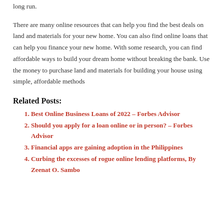long run.
There are many online resources that can help you find the best deals on land and materials for your new home. You can also find online loans that can help you finance your new home. With some research, you can find affordable ways to build your dream home without breaking the bank. Use the money to purchase land and materials for building your house using simple, affordable methods
Related Posts:
Best Online Business Loans of 2022 – Forbes Advisor
Should you apply for a loan online or in person? – Forbes Advisor
Financial apps are gaining adoption in the Philippines
Curbing the excesses of rogue online lending platforms, By Zeenat O. Sambo